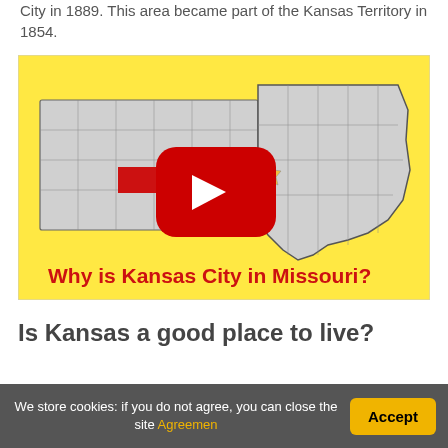City in 1889. This area became part of the Kansas Territory in 1854.
[Figure (screenshot): YouTube video thumbnail showing a map of Kansas and Missouri states with a red arrow pointing to Kansas City area, title text reads 'Why is Kansas City in Missouri?' on yellow background with YouTube play button overlay]
Is Kansas a good place to live?
Kansas is known for their gorgeous sunsets, this is,
We store cookies: if you do not agree, you can close the site Agreemen